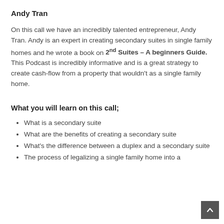Andy Tran
On this call we have an incredibly talented entrepreneur, Andy Tran. Andy is an expert in creating secondary suites in single family homes and he wrote a book on 2nd Suites – A beginners Guide. This Podcast is incredibly informative and is a great strategy to create cash-flow from a property that wouldn't as a single family home.
What you will learn on this call;
What is a secondary suite
What are the benefits of creating a secondary suite
What's the difference between a duplex and a secondary suite
The process of legalizing a single family home into a unit